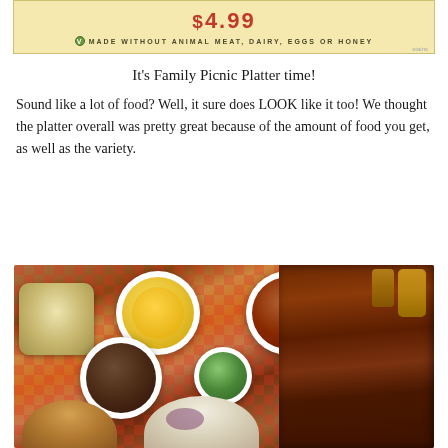[Figure (photo): Banner image with yellow background showing price text in red and a vegan certification badge reading 'Made Without Animal Meat, Dairy, Eggs or Honey']
It's Family Picnic Platter time!
Sound like a lot of food? Well, it sure does LOOK like it too! We thought the platter overall was pretty great because of the amount of food you get, as well as the variety.
[Figure (photo): Overhead photo of a Family Picnic Platter with multiple bowls of sides including macaroni and cheese with cornflake topping, baked beans, black beans, green vegetables, potato salad, coleslaw, and ribs/meat with corn, all arranged on red and white checkered paper in a tray]